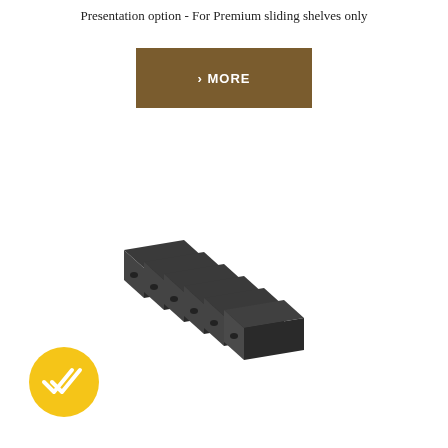Presentation option - For Premium sliding shelves only
[Figure (other): Brown rectangular button with right-arrow and text '› MORE']
[Figure (photo): Six black plastic rectangular shelf clip/stopper pieces arranged in a stepped row on a white background]
[Figure (logo): Yellow circular badge with a double-check white icon]